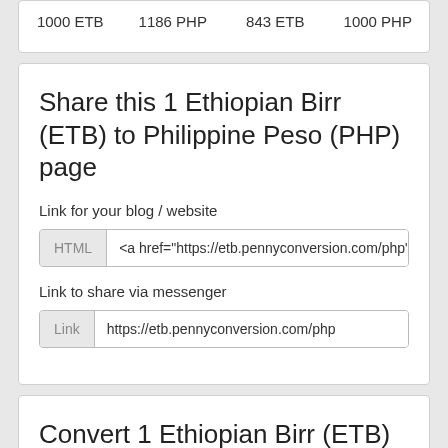| 1000 ETB | 1186 PHP | 843 ETB | 1000 PHP |
Share this 1 Ethiopian Birr (ETB) to Philippine Peso (PHP) page
Link for your blog / website
HTML   <a href="https://etb.pennyconversion.com/php":
Link to share via messenger
Link   https://etb.pennyconversion.com/php
Convert 1 Ethiopian Birr (ETB) to other currencies